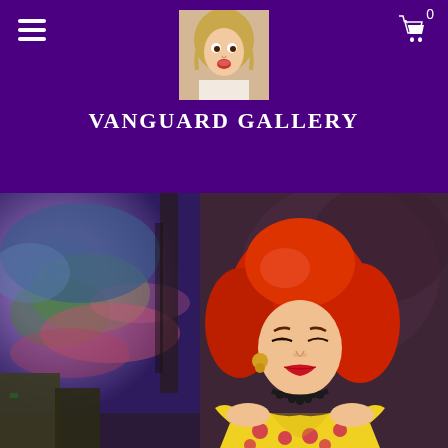[Figure (screenshot): Website header with purple background. Navigation bar with hamburger menu icon on left, cart icon with '0' count on right. Center logo image showing a woman with surprised expression. Gallery title 'VANGUARD GALLERY' in white serif bold text below the logo.]
[Figure (illustration): Painting of a woman with red hair wearing a yellow polka-dot off-shoulder dress, with gold earrings and dark necklace, set against a dark background with a colorful night sky street scene on the left side.]